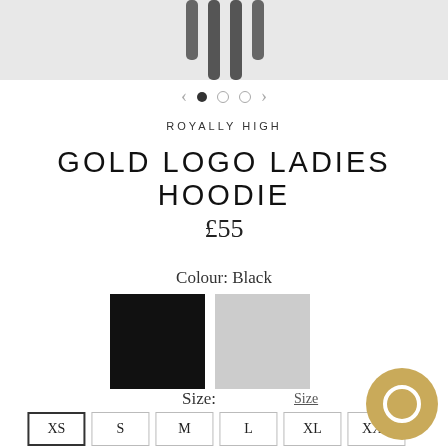[Figure (photo): Top portion of a grey hoodie showing drawstrings, cropped product image]
ROYALLY HIGH
GOLD LOGO LADIES HOODIE
£55
Colour: Black
[Figure (other): Two colour swatches: black (selected, with border) and light grey]
Size:
Size Guide
XS  S  M  L  XL  XXL